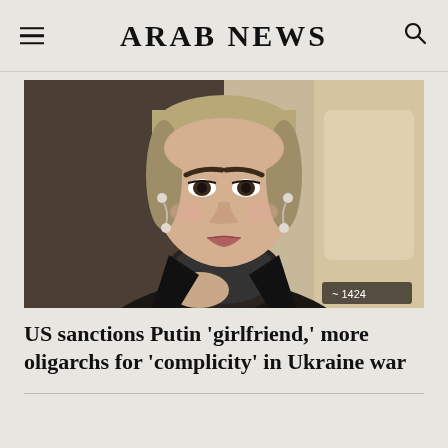ARAB NEWS
[Figure (photo): Close-up photo of a woman with light hair pulled back, wearing dangling earrings, a dark blazer and a patterned dark scarf/turtleneck, with a serious expression. A '1424' badge appears in the lower right corner of the image.]
US sanctions Putin ‘girlfriend,’ more oligarchs for ‘complicity’ in Ukraine war